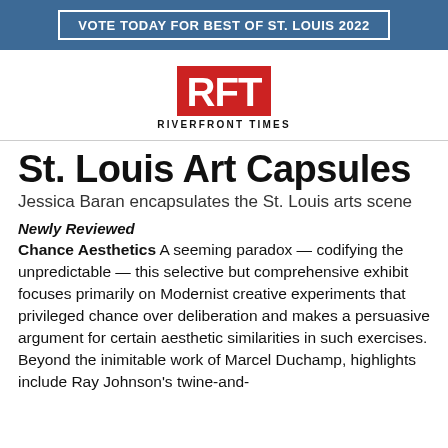VOTE TODAY FOR BEST OF ST. LOUIS 2022
[Figure (logo): RFT Riverfront Times logo — bold white letters R, F, T on red background, with RIVERFRONT TIMES text below in black]
St. Louis Art Capsules
Jessica Baran encapsulates the St. Louis arts scene
Newly Reviewed
Chance Aesthetics A seeming paradox — codifying the unpredictable — this selective but comprehensive exhibit focuses primarily on Modernist creative experiments that privileged chance over deliberation and makes a persuasive argument for certain aesthetic similarities in such exercises. Beyond the inimitable work of Marcel Duchamp, highlights include Ray Johnson's twine-and-